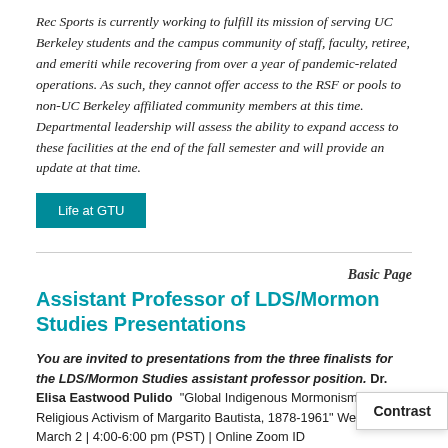Rec Sports is currently working to fulfill its mission of serving UC Berkeley students and the campus community of staff, faculty, retiree, and emeriti while recovering from over a year of pandemic-related operations. As such, they cannot offer access to the RSF or pools to non-UC Berkeley affiliated community members at this time. Departmental leadership will assess the ability to expand access to these facilities at the end of the fall semester and will provide an update at that time.
Life at GTU
Basic Page
Assistant Professor of LDS/Mormon Studies Presentations
You are invited to presentations from the three finalists for the LDS/Mormon Studies assistant professor position. Dr. Elisa Eastwood Pulido  "Global Indigenous Mormonism: The Religious Activism of Margarito Bautista, 1878-1961" Wednesday, March 2 | 4:00-6:00 pm (PST) | Online Zoom ID https://gtu.zoom.us/j/98825351865 Dr. Janiece Johnson  "Becoming a People of the Books: Early Latter-day S New Scripture" Tuesday, March 8 | 4:00-6:00 pm (PST) | On ID https://gtu.zoom.us/j/98872198568 Dr. Brida Nicole C